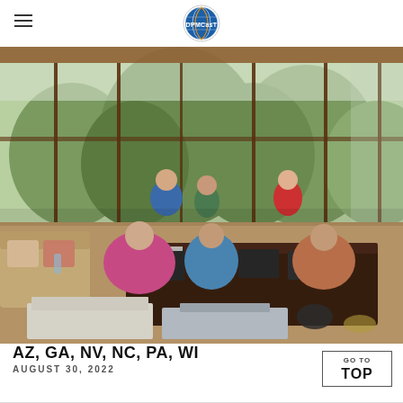DPMCasT logo navigation header
[Figure (photo): Group of people seated and standing around a table in a glass-walled room with tropical greenery visible outside. Items on the table include laptops and papers. People are smiling and some are making hand gestures.]
AZ, GA, NV, NC, PA, WI
AUGUST 30, 2022
GO TO TOP